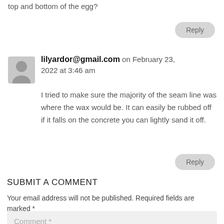top and bottom of the egg?
Reply
lilyardor@gmail.com on February 23, 2022 at 3:46 am
I tried to make sure the majority of the seam line was where the wax would be. It can easily be rubbed off if it falls on the concrete you can lightly sand it off.
Reply
SUBMIT A COMMENT
Your email address will not be published. Required fields are marked *
Comment *